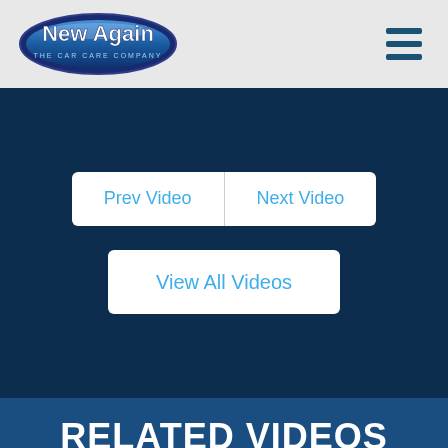New Again — The Car Care Company
Prev Video | Next Video
View All Videos
RELATED VIDEOS
Here are some more of our latest #CeramicCoating videos